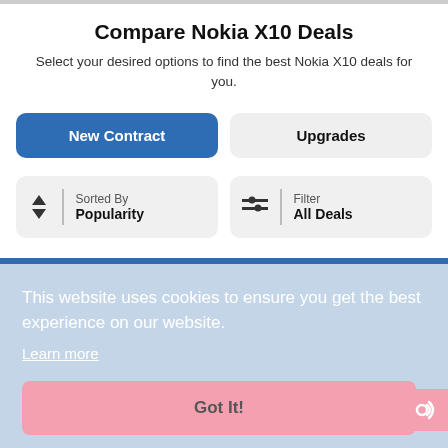Compare Nokia X10 Deals
Select your desired options to find the best Nokia X10 deals for you.
New Contract | Upgrades
Sorted By Popularity
Filter All Deals
This website uses cookies to ensure you get the best experience on our website. Learn more
Got It!